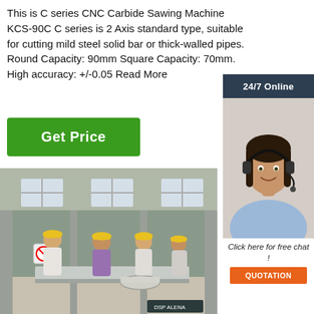This is C series CNC Carbide Sawing Machine KCS-90C C series is 2 Axis standard type, suitable for cutting mild steel solid bar or thick-walled pipes. Round Capacity: 90mm Square Capacity: 70mm. High accuracy: +/-0.05 Read More
Get Price
24/7 Online
[Figure (photo): Female customer service agent wearing headset, smiling]
Click here for free chat !
QUOTATION
[Figure (photo): Workers in yellow hard hats in a factory/warehouse, with metal pipes and machinery on the floor]